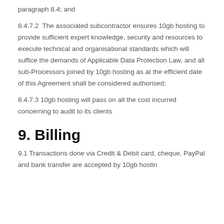paragraph 8.4; and
8.4.7.2  The associated subcontractor ensures 10gb hosting to provide sufficient expert knowledge, security and resources to execute technical and organisational standards which will suffice the demands of Applicable Data Protection Law, and all sub-Processors joined by 10gb hosting as at the efficient date of this Agreement shall be considered authorised;
8.4.7.3 10gb hosting will pass on all the cost incurred concerning to audit to its clients
9. Billing
9.1 Transactions done via Credit & Debit card, cheque, PayPal and bank transfer are accepted by 10gb hosting